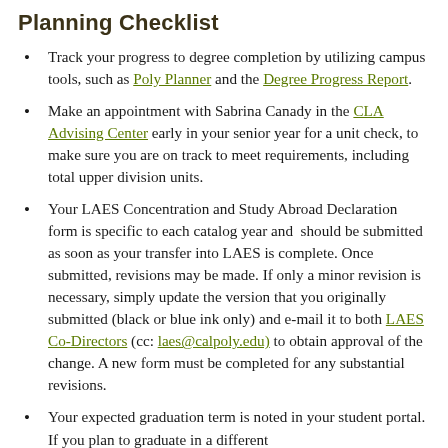Planning Checklist
Track your progress to degree completion by utilizing campus tools, such as Poly Planner and the Degree Progress Report.
Make an appointment with Sabrina Canady in the CLA Advising Center early in your senior year for a unit check, to make sure you are on track to meet requirements, including total upper division units.
Your LAES Concentration and Study Abroad Declaration form is specific to each catalog year and should be submitted as soon as your transfer into LAES is complete. Once submitted, revisions may be made. If only a minor revision is necessary, simply update the version that you originally submitted (black or blue ink only) and e-mail it to both LAES Co-Directors (cc: laes@calpoly.edu) to obtain approval of the change. A new form must be completed for any substantial revisions.
Your expected graduation term is noted in your student portal. If you plan to graduate in a different